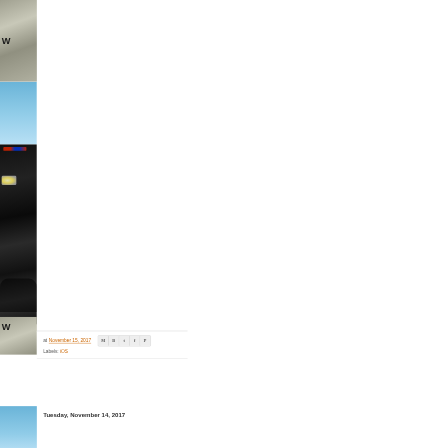[Figure (photo): Top portion of sidebar showing road/aerial texture image with partial bold letter visible]
[Figure (photo): Police/law enforcement SUV vehicle on a road, side view, with emergency lights on top, dark colored vehicle against blue sky background]
at November 15, 2017
[Figure (infographic): Share icons row: Gmail, Blogger, Twitter, Facebook, Pinterest]
Labels: iOS
[Figure (photo): Bottom sidebar image showing blue sky/outdoor scene]
Tuesday, November 14, 2017